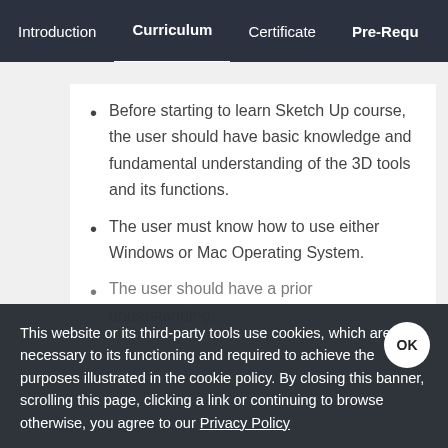Introduction | Curriculum | Certificate | Pre-Requ
Before starting to learn Sketch Up course, the user should have basic knowledge and fundamental understanding of the 3D tools and its functions.
The user must know how to use either Windows or Mac Operating System.
The user should have a prior understanding... (partially obscured)
This website or its third-party tools use cookies, which are necessary to its functioning and required to achieve the purposes illustrated in the cookie policy. By closing this banner, scrolling this page, clicking a link or continuing to browse otherwise, you agree to our Privacy Policy